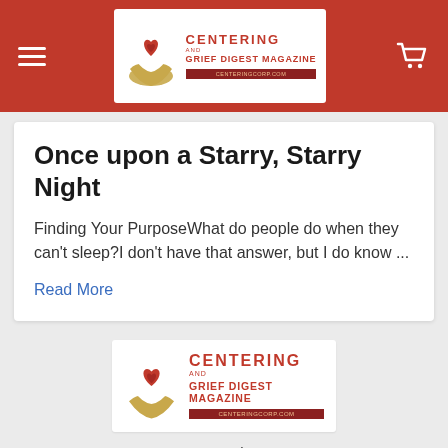Centering and Grief Digest Magazine
Once upon a Starry, Starry Night
Finding Your PurposeWhat do people do when they can't sleep?I don't have that answer, but I do know ...
Read More
[Figure (logo): Centering and Grief Digest Magazine logo with heart and hands graphic]
6406 Maple St.
Omaha, NE 68104
Call us at 866-218-0101 M-F 9am-4pm CDT/Central Daylight